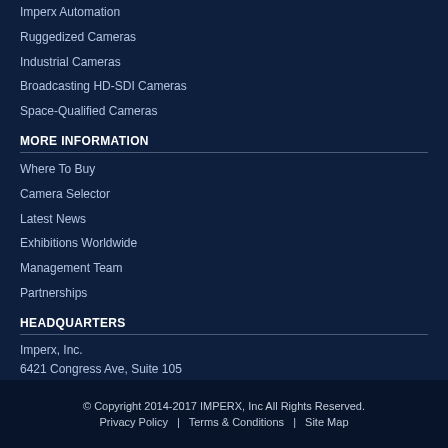Imperx Automation
Ruggedized Cameras
Industrial Cameras
Broadcasting HD-SDI Cameras
Space-Qualified Cameras
MORE INFORMATION
Where To Buy
Camera Selector
Latest News
Exhibitions Worldwide
Management Team
Partnerships
HEADQUARTERS
Imperx, Inc.
6421 Congress Ave, Suite 105
Boca Raton, FL 33487
USA
Phone: +1-561-989-0006
Fax: +1-561-989-0045
Imperx is a proud US manufacturer
© Copyright 2014-2017 IMPERX, Inc All Rights Reserved.
Privacy Policy  |  Terms & Conditions  |  Site Map